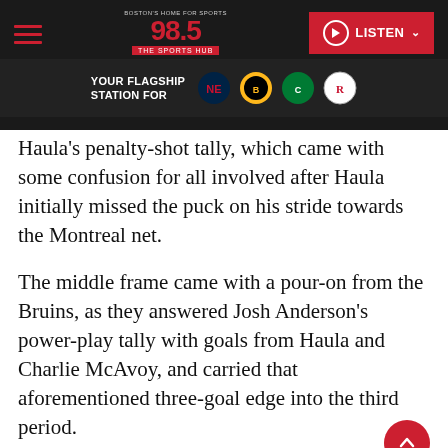98.5 The Sports Hub — BOSTON'S HOME FOR SPORTS — YOUR FLAGSHIP STATION FOR [Patriots, Bruins, Celtics, Revolution logos]
Haula's penalty-shot tally, which came with some confusion for all involved after Haula initially missed the puck on his stride towards the Montreal net.
The middle frame came with a pour-on from the Bruins, as they answered Josh Anderson's power-play tally with goals from Haula and Charlie McAvoy, and carried that aforementioned three-goal edge into the third period.